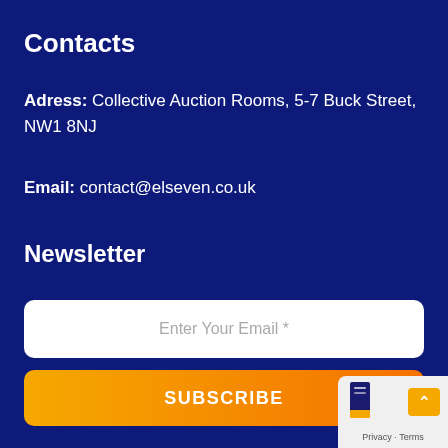Contacts
Adress: Collective Auction Rooms, 5-7 Buck Street, NW1 8NJ
Email: contact@elseven.co.uk
Newsletter
Enter Your Email *
SUBSCRIBE
Privacy · Terms